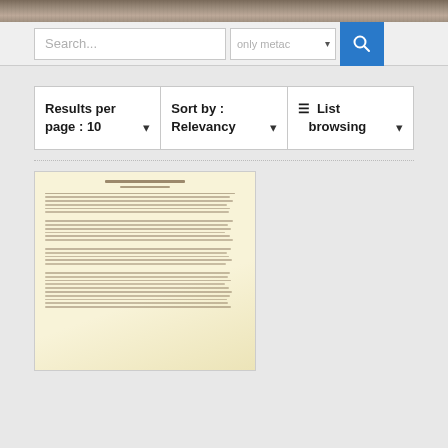[Figure (screenshot): Website search interface screenshot showing a search bar with 'Search...' placeholder, a dropdown labeled 'only metac', a blue search button, results controls showing 'Results per page: 10', 'Sort by: Relevancy', and 'List browsing' dropdowns, followed by a thumbnail of an old typewritten document on yellowed paper.]
Search...
only metac
Results per page : 10
Sort by : Relevancy
≡  List browsing